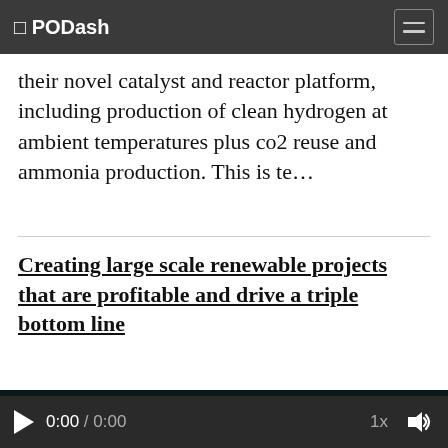◻ PODash
their novel catalyst and reactor platform, including production of clean hydrogen at ambient temperatures plus co2 reuse and ammonia production. This is te...
Creating large scale renewable projects that are profitable and drive a triple bottom line
[Figure (photo): Dark background image with teal/cyan cloud of smoke or vapor, partially visible at bottom of content area]
▶  0:00 / 0:00   1x  🔊